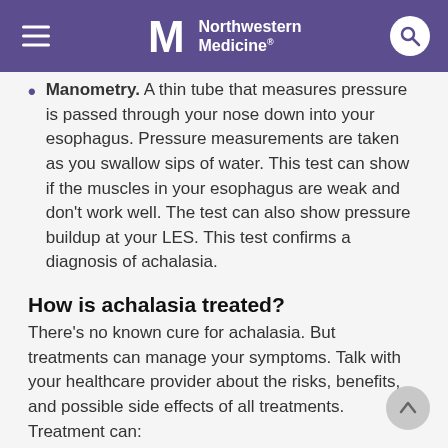Northwestern Medicine
Manometry. A thin tube that measures pressure is passed through your nose down into your esophagus. Pressure measurements are taken as you swallow sips of water. This test can show if the muscles in your esophagus are weak and don't work well. The test can also show pressure buildup at your LES. This test confirms a diagnosis of achalasia.
How is achalasia treated?
There's no known cure for achalasia. But treatments can manage your symptoms. Talk with your healthcare provider about the risks, benefits, and possible side effects of all treatments. Treatment can: